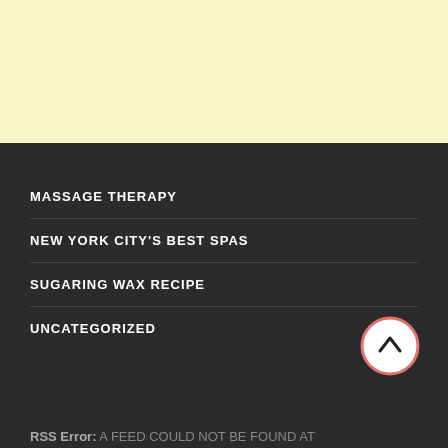[Figure (other): Light yellow background block at top of page]
MASSAGE THERAPY
NEW YORK CITY'S BEST SPAS
SUGARING WAX RECIPE
UNCATEGORIZED
[Figure (other): Scroll-to-top button: circle with salmon/pink border and upward chevron arrow]
RSS Error: A FEED COULD NOT BE FOUND AT